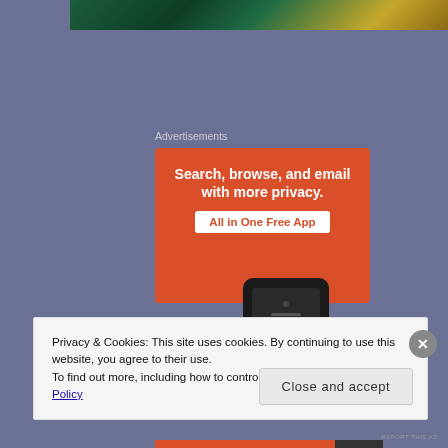[Figure (photo): Partial view of a dark nighttime scene with green and gold tones, appearing to show an outdoor or nature scene — partially visible at the very top of the page.]
Advertisements
[Figure (infographic): Orange advertisement banner reading 'Search, browse, and email with more privacy. All in One Free App' with a phone graphic at the bottom.]
Privacy & Cookies: This site uses cookies. By continuing to use this website, you agree to their use.
To find out more, including how to control cookies, see here: Cookie Policy
Close and accept